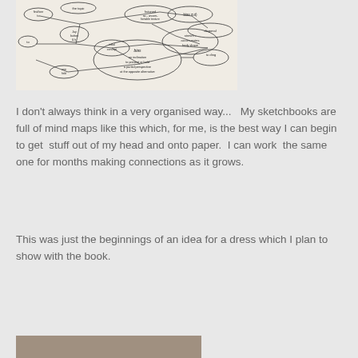[Figure (other): A hand-drawn mind map on white paper showing interconnected oval bubbles with handwritten text about fabric/dress design concepts including 'bias cut', 'diagonal', 'stretch - accommodates body shape', 'bias', 'on inclination to present or hold a partial perspective at the opposite alternative', 'to cling', 'one fold', etc. Lines connect various bubbles.]
I don't always think in a very organised way...   My sketchbooks are full of mind maps like this which, for me, is the best way I can begin to get  stuff out of my head and onto paper.  I can work  the same one for months making connections as it grows.
This was just the beginnings of an idea for a dress which I plan to show with the book.
[Figure (photo): Partial view of another sketchbook page at the bottom of the screen, mostly cut off.]